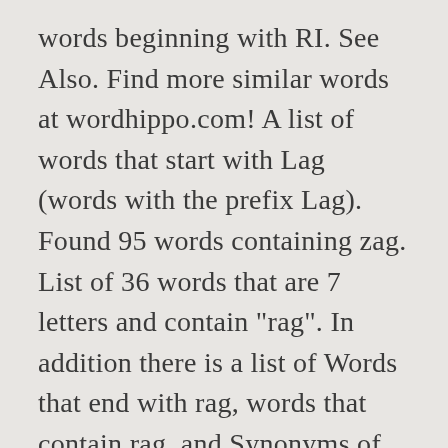words beginning with RI. See Also. Find more similar words at wordhippo.com! A list of words that start with Lag (words with the prefix Lag). Found 95 words containing zag. List of 36 words that are 7 letters and contain "rag". In addition there is a list of Words that end with rag, words that contain rag, and Synonyms of rag. By continuing to browse this site, you are agreeing that Google and its partners will use cookies to provide you with targeted ads tailored to your interests and to enable us to measure the audience, click to learn more. Above are the results of unscrambling all the words that start with rag. ragout. ragis. Are you looking for adjectives that start with rag? Or